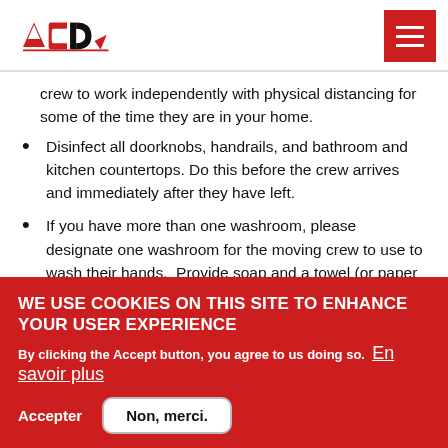ASD logo and navigation menu
crew to work independently with physical distancing for some of the time they are in your home.
Disinfect all doorknobs, handrails, and bathroom and kitchen countertops. Do this before the crew arrives and immediately after they have left.
If you have more than one washroom, please designate one washroom for the moving crew to use to wash their hands.  Provide soap and a towel (or paper towel with a plastic bag to put the used paper in).  Please
WE USE COOKIES ON THIS SITE TO ENHANCE YOUR USER EXPERIENCE
By clicking the Accept button, you agree to us doing so. En savoir plus
Accepter   Non, merci.